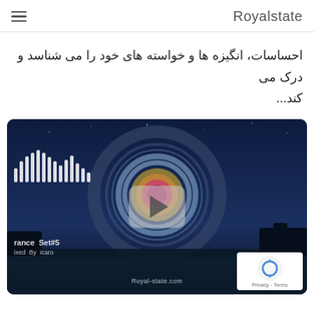Royalstate
احساسات، انگیزه ها و خواسته های خود را می شناسد و درک می کند...
[Figure (screenshot): Video thumbnail showing a sci-fi/trance music scene with circular audio visualization, waveform bars on the left, play button in the center, text 'Trance Set#5 Mixed By icaro' and watermark 'Royal-state.com' at the bottom. A reCAPTCHA badge is overlaid in the bottom-right corner.]